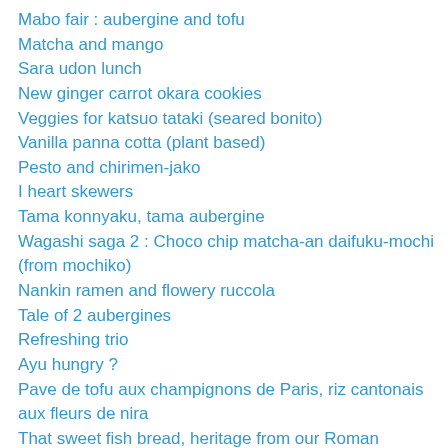Mabo fair : aubergine and tofu
Matcha and mango
Sara udon lunch
New ginger carrot okara cookies
Veggies for katsuo tataki (seared bonito)
Vanilla panna cotta (plant based)
Pesto and chirimen-jako
I heart skewers
Tama konnyaku, tama aubergine
Wagashi saga 2 : Choco chip matcha-an daifuku-mochi (from mochiko)
Nankin ramen and flowery ruccola
Tale of 2 aubergines
Refreshing trio
Ayu hungry ?
Pave de tofu aux champignons de Paris, riz cantonais aux fleurs de nira
That sweet fish bread, heritage from our Roman ancestors (French Pissaladiere)
Pattzukis and basil argan oil zucchini
Fava mitsuba green dip
Cobb style